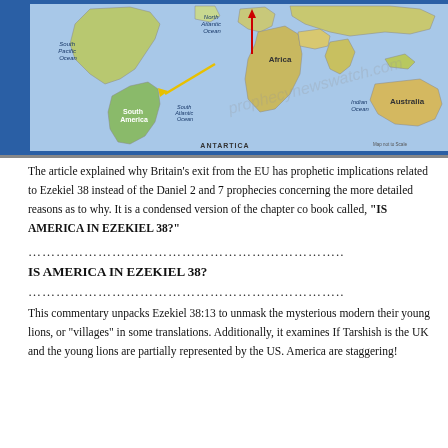[Figure (map): World map showing continents including South America, Africa, Australia, with ocean labels (North Atlantic Ocean, South Pacific Ocean, South Atlantic Ocean, Indian Ocean) and arrows pointing from South America area. Text 'ANTARTICA' at bottom. Watermark visible.]
The article explained why Britain's exit from the EU has prophetic implications related to Ezekiel 38 instead of the Daniel 2 and 7 prophecies concerning the more detailed reasons as to why. It is a condensed version of the chapter co book called, “IS AMERICA IN EZEKIEL 38?”
…………………………………………..
IS AMERICA IN EZEKIEL 38?
…………………………………………..
This commentary unpacks Ezekiel 38:13 to unmask the mysterious modern their young lions, or “villages” in some translations. Additionally, it examines If Tarshish is the UK and the young lions are partially represented by the US. America are staggering!